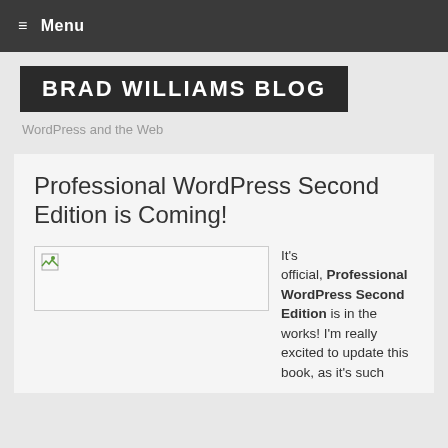≡ Menu
BRAD WILLIAMS BLOG
WordPress and the Web
Professional WordPress Second Edition is Coming!
[Figure (illustration): Broken image placeholder for book cover]
It's official, Professional WordPress Second Edition is in the works! I'm really excited to update this book, as it's such